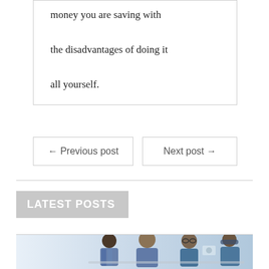money you are saving with the disadvantages of doing it all yourself.
← Previous post
Next post →
LATEST POSTS
[Figure (photo): Group of people in a workplace/office setting, looking at something together, wearing blue clothing]